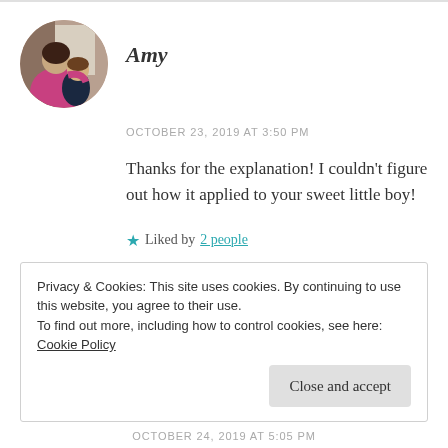[Figure (photo): Circular avatar photo of a woman holding a young child, wearing a pink/magenta top]
Amy
OCTOBER 23, 2019 AT 3:50 PM
Thanks for the explanation! I couldn't figure out how it applied to your sweet little boy!
★ Liked by 2 people
REPLY
Privacy & Cookies: This site uses cookies. By continuing to use this website, you agree to their use.
To find out more, including how to control cookies, see here: Cookie Policy
Close and accept
OCTOBER 24, 2019 AT 5:05 PM